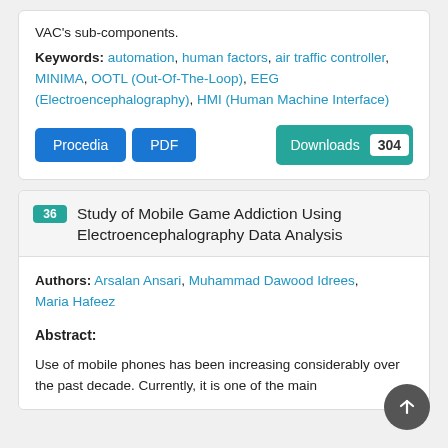VAC's sub-components.
Keywords: automation, human factors, air traffic controller, MINIMA, OOTL (Out-Of-The-Loop), EEG (Electroencephalography), HMI (Human Machine Interface)
36 Study of Mobile Game Addiction Using Electroencephalography Data Analysis
Authors: Arsalan Ansari, Muhammad Dawood Idrees, Maria Hafeez
Abstract:
Use of mobile phones has been increasing considerably over the past decade. Currently, it is one of the main